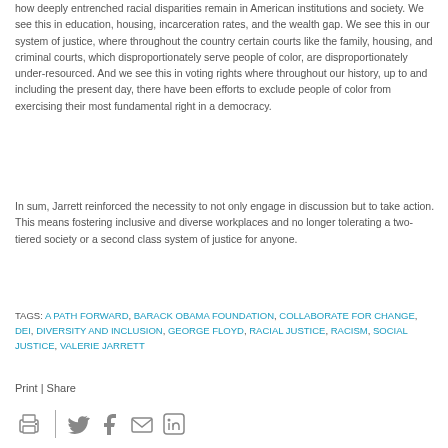how deeply entrenched racial disparities remain in American institutions and society. We see this in education, housing, incarceration rates, and the wealth gap. We see this in our system of justice, where throughout the country certain courts like the family, housing, and criminal courts, which disproportionately serve people of color, are disproportionately under-resourced. And we see this in voting rights where throughout our history, up to and including the present day, there have been efforts to exclude people of color from exercising their most fundamental right in a democracy.
In sum, Jarrett reinforced the necessity to not only engage in discussion but to take action. This means fostering inclusive and diverse workplaces and no longer tolerating a two-tiered society or a second class system of justice for anyone.
TAGS: A PATH FORWARD, BARACK OBAMA FOUNDATION, COLLABORATE FOR CHANGE, DEI, DIVERSITY AND INCLUSION, GEORGE FLOYD, RACIAL JUSTICE, RACISM, SOCIAL JUSTICE, VALERIE JARRETT
Print | Share